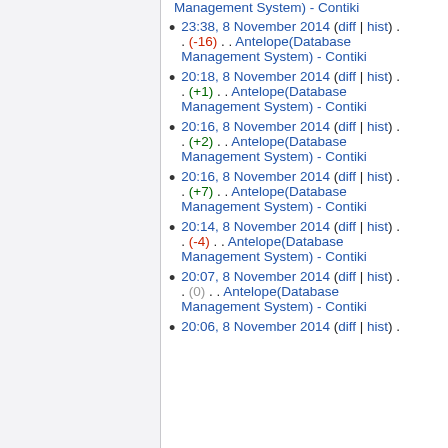23:38, 8 November 2014 (diff | hist) . . (-16) . . Antelope(Database Management System) - Contiki
20:18, 8 November 2014 (diff | hist) . . (+1) . . Antelope(Database Management System) - Contiki
20:16, 8 November 2014 (diff | hist) . . (+2) . . Antelope(Database Management System) - Contiki
20:16, 8 November 2014 (diff | hist) . . (+7) . . Antelope(Database Management System) - Contiki
20:14, 8 November 2014 (diff | hist) . . (-4) . . Antelope(Database Management System) - Contiki
20:07, 8 November 2014 (diff | hist) . . (0) . . Antelope(Database Management System) - Contiki
20:06, 8 November 2014 (diff | hist) .